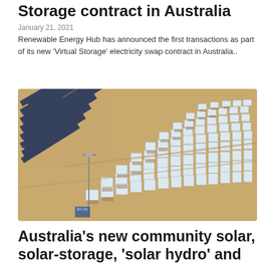Storage contract in Australia
January 21, 2021
Renewable Energy Hub has announced the first transactions as part of its new 'Virtual Storage' electricity swap contract in Australia..
[Figure (photo): Aerial view of a solar farm and heliostat mirror array on sandy ground in Australia]
Australia's new community solar, solar-storage, 'solar hydro' and